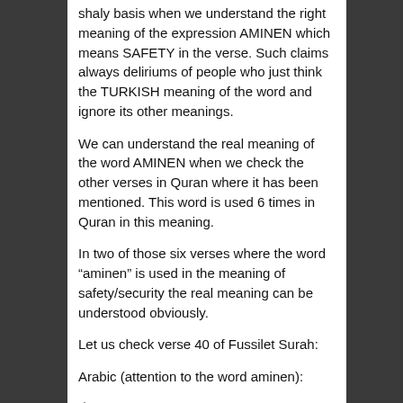shaly basis when we understand the right meaning of the expression AMINEN which means SAFETY in the verse. Such claims always deliriums of people who just think the TURKISH meaning of the word and ignore its other meanings.
We can understand the real meaning of the word AMINEN when we check the other verses in Quran where it has been mentioned. This word is used 6 times in Quran in this meaning.
In two of those six verses where the word “aminen” is used in the meaning of safety/security the real meaning can be understood obviously.
Let us check verse 40 of Fussilet Surah:
Arabic (attention to the word aminen):
(İnnellezîne yulhıdûne fî âyâtinâ lâ yahfevne aleynâ, e fe men yulkâ fîn nâri hayrun em men ye'tî AMİNEN yevmel kıyâmeh)